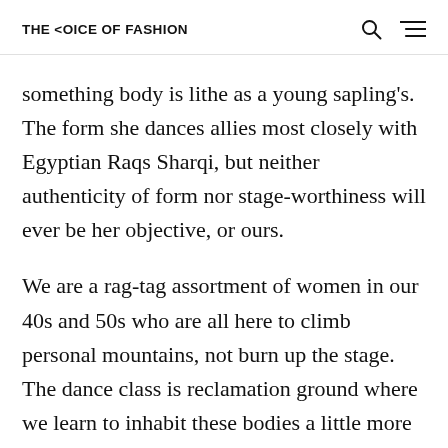THE <OICE OF FASHION
something body is lithe as a young sapling's. The form she dances allies most closely with Egyptian Raqs Sharqi, but neither authenticity of form nor stage-worthiness will ever be her objective, or ours.
We are a rag-tag assortment of women in our 40s and 50s who are all here to climb personal mountains, not burn up the stage. The dance class is reclamation ground where we learn to inhabit these bodies a little more fully. We knot form-fitted blouses at the solar plexus and wear